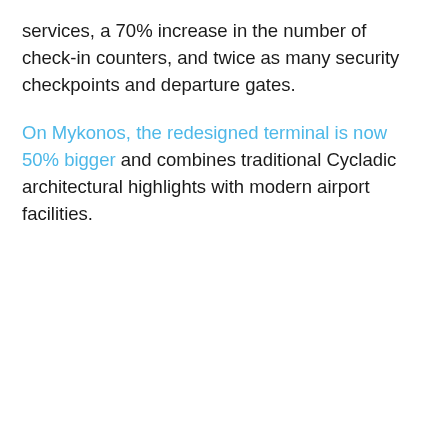services, a 70% increase in the number of check-in counters, and twice as many security checkpoints and departure gates.
On Mykonos, the redesigned terminal is now 50% bigger and combines traditional Cycladic architectural highlights with modern airport facilities.